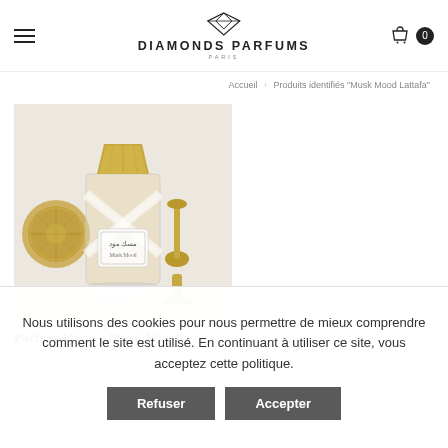DIAMONDS PARFUMS PARIS
Accueil › Produits identifiés “Musk Mood Lattafa”
[Figure (photo): Photo of a perfume bottle (Musk Mood Lattafa) with gold decorative cap, white ribbons on the bottle, an ornate Arabic calligraphy label, placed next to a gold candlestick and a gold Moroccan lantern on a white surface.]
Parfum Mixte – Musk Mood
Nous utilisons des cookies pour nous permettre de mieux comprendre comment le site est utilisé. En continuant à utiliser ce site, vous acceptez cette politique.